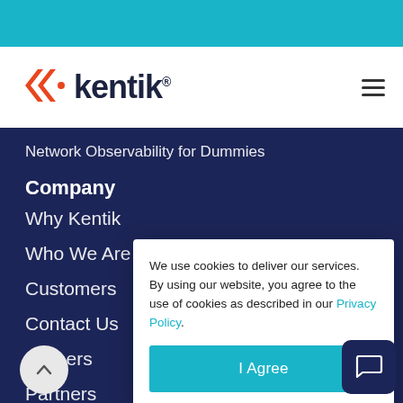[Figure (logo): Kentik logo with orange double-chevron icon and dark navy text 'kentik.']
Network Observability for Dummies
Company
Why Kentik
Who We Are
Customers
Contact Us
Careers
Partners
Kentik
We use cookies to deliver our services. By using our website, you agree to the use of cookies as described in our Privacy Policy.
I Agree